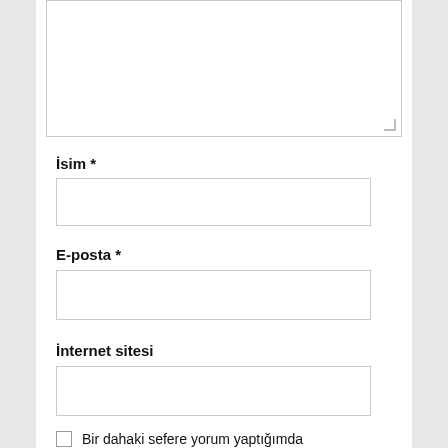[Figure (screenshot): A textarea input box (comment field) at the top of the page, partially visible, with a resize handle at the bottom-right corner.]
İsim *
[Figure (screenshot): An empty text input field for İsim (Name).]
E-posta *
[Figure (screenshot): An empty text input field for E-posta (Email).]
İnternet sitesi
[Figure (screenshot): An empty text input field for İnternet sitesi (Website).]
Bir dahaki sefere yorum yaptığımda kullanılmak üzere adımı, e-posta adresimi ve web